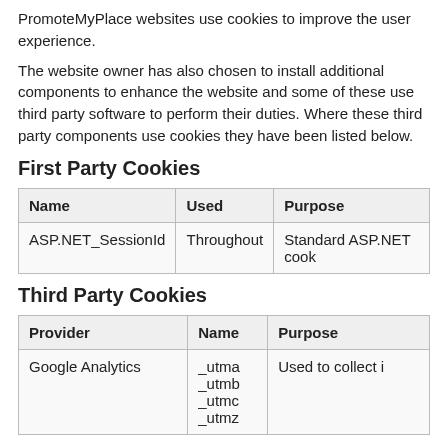PromoteMyPlace websites use cookies to improve the user experience.
The website owner has also chosen to install additional components to enhance the website and some of these use third party software to perform their duties. Where these third party components use cookies they have been listed below.
First Party Cookies
| Name | Used | Purpose |
| --- | --- | --- |
| ASP.NET_SessionId | Throughout | Standard ASP.NET cook |
Third Party Cookies
| Provider | Name | Purpose |
| --- | --- | --- |
| Google Analytics | _utma
_utmb
_utmc
_utmz | Used to collect i |